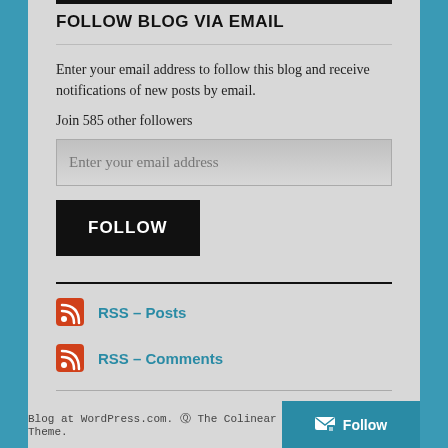FOLLOW BLOG VIA EMAIL
Enter your email address to follow this blog and receive notifications of new posts by email.
Join 585 other followers
Enter your email address
FOLLOW
RSS - Posts
RSS - Comments
Blog at WordPress.com. The Colinear Theme.